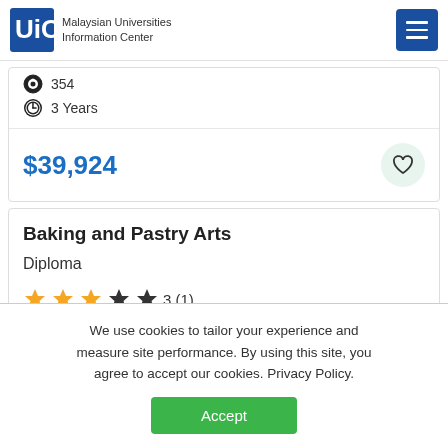Malaysian Universities Information Center
354
3 Years
$39,924
Baking and Pastry Arts
Diploma
3 (1)
Hotel Management
We use cookies to tailor your experience and measure site performance. By using this site, you agree to accept our cookies. Privacy Policy.
Accept